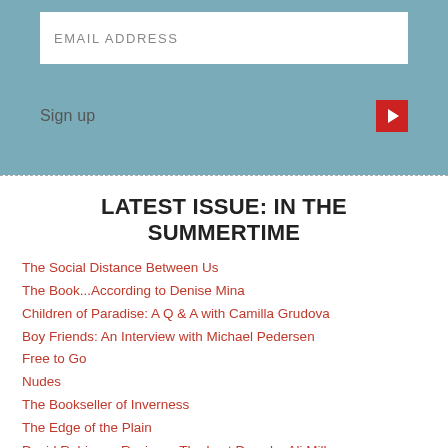[Figure (screenshot): Email signup form with a light blue background, a white input field labeled EMAIL ADDRESS, a Sign up label, and a red arrow button]
LATEST ISSUE: IN THE SUMMERTIME
The Social Distance Between Us
The Book...According to Denise Mina
Children of Paradise: A Q & A with Camilla Grudova
Boy Friends: An Interview with Michael Pedersen
Free to Go
Nudes
The Bookseller of Inverness
The Edge of the Plain
David Robinson Reviews: The Last Days by Ali Millar
The Arctic
The Boy Who Rescued a Rainbow
be/longing: A Q & A with Amanda Thomson
Creative Response: Arusa Qureshi on Brickwork
Maetirich Nasim Rebacca: An Interview Juana Adcock